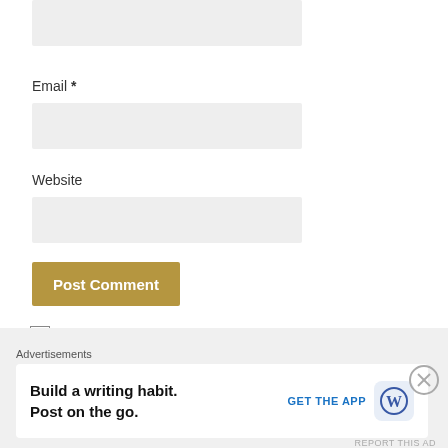[Figure (screenshot): Gray input box (top of page, partially visible)]
Email *
[Figure (screenshot): Gray input box for Email]
Website
[Figure (screenshot): Gray input box for Website]
Post Comment
Notify me of new comments via email.
Notify me of new posts via email.
Advertisements
Advertisements
Build a writing habit. Post on the go.
GET THE APP
REPORT THIS AD